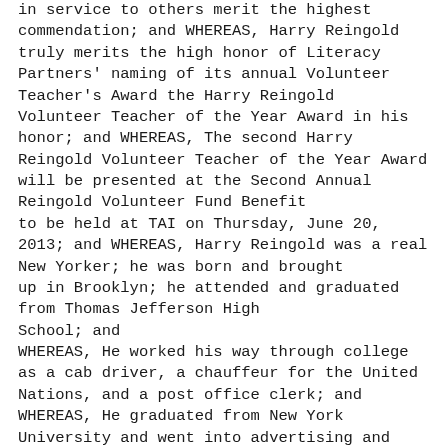in service to others merit the highest commendation; and WHEREAS, Harry Reingold truly merits the high honor of Literacy Partners' naming of its annual Volunteer Teacher's Award the Harry Reingold Volunteer Teacher of the Year Award in his honor; and WHEREAS, The second Harry Reingold Volunteer Teacher of the Year Award will be presented at the Second Annual Reingold Volunteer Fund Benefit to be held at TAI on Thursday, June 20, 2013; and WHEREAS, Harry Reingold was a real New Yorker; he was born and brought up in Brooklyn; he attended and graduated from Thomas Jefferson High School; and WHEREAS, He worked his way through college as a cab driver, a chauffeur for the United Nations, and a post office clerk; and WHEREAS, He graduated from New York University and went into advertising and started his own agency, Harry Reingold Advertising; and WHEREAS, Harry was crazy about books and, from the time